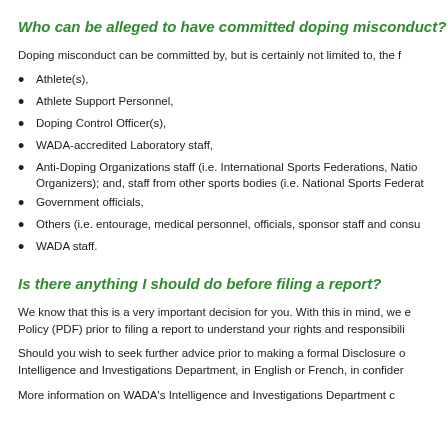Who can be alleged to have committed doping misconduct?
Doping misconduct can be committed by, but is certainly not limited to, the f
Athlete(s),
Athlete Support Personnel,
Doping Control Officer(s),
WADA-accredited Laboratory staff,
Anti-Doping Organizations staff (i.e. International Sports Federations, Natio... Organizers); and, staff from other sports bodies (i.e. National Sports Federat...
Government officials,
Others (i.e. entourage, medical personnel, officials, sponsor staff and consu...
WADA staff.
Is there anything I should do before filing a report?
We know that this is a very important decision for you. With this in mind, we e... Policy (PDF) prior to filing a report to understand your rights and responsibili...
Should you wish to seek further advice prior to making a formal Disclosure o... Intelligence and Investigations Department, in English or French, in confider...
More information on WADA's Intelligence and Investigations Department c...